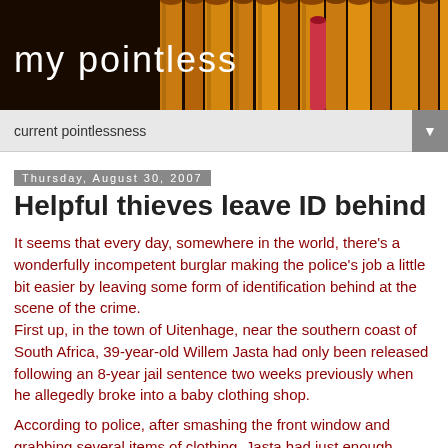[Figure (photo): Blog header banner with pencils/colored cylinders on dark background with 'my pointless' text overlay]
current pointlessness
Thursday, August 30, 2007
Helpful thieves leave ID behind
It seems that every day, somewhere in the world, there's a wonderfully incompetent burglar making the police's job a little bit easier by leaving some form of identification behind at the scene of the crime.
First up, in the town of Uitenhage, near the southern coast of South Africa, 39-year-old Willem Jasta had only been released following an 8-year jail sentence two weeks previously when he allegedly broke into a baby clothing shop.
According to police, after smashing the front window and grabbing several items of clothing, Jasta had just enough